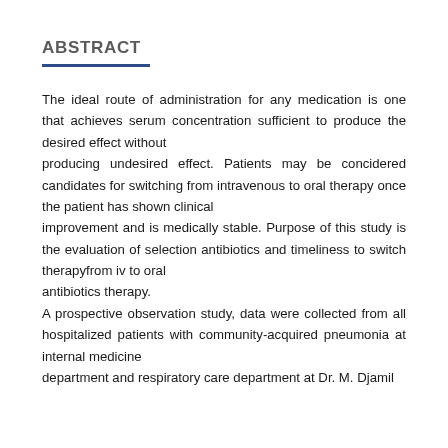ABSTRACT
The ideal route of administration for any medication is one that achieves serum concentration sufficient to produce the desired effect without
producing undesired effect. Patients may be concidered candidates for switching from intravenous to oral therapy once the patient has shown clinical
improvement and is medically stable. Purpose of this study is the evaluation of selection antibiotics and timeliness to switch therapyfrom iv to oral
antibiotics therapy.
A prospective observation study, data were collected from all hospitalized patients with community-acquired pneumonia at internal medicine
department and respiratory care department at Dr. M. Djamil